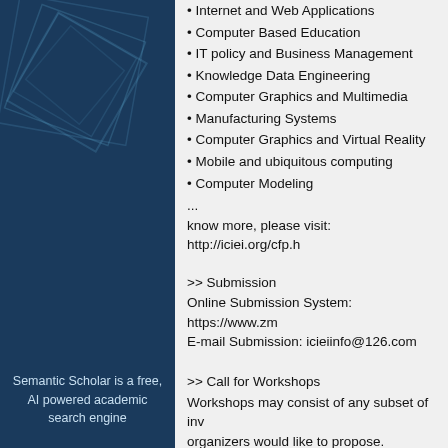[Figure (logo): Semantic Scholar logo panel — dark blue background with geometric square outlines, white text reading 'Semantic Scholar is a free, AI powered academic search engine']
• Internet and Web Applications
• Computer Based Education
• IT policy and Business Management
• Knowledge Data Engineering
• Computer Graphics and Multimedia
• Manufacturing Systems
• Computer Graphics and Virtual Reality
• Mobile and ubiquitous computing
• Computer Modeling
...
know more, please visit: http://iciei.org/cfp.h
>> Submission
Online Submission System: https://www.zm
E-mail Submission: icieiinfo@126.com
>> Call for Workshops
Workshops may consist of any subset of inv
organizers would like to propose.
Submission Deadline: February 20th, 2022
>> Conference Venue
Singidunum University, Belgrade, Serbia (pe
Add: Danijelova 32, Beograd 160622, Serbi
Web: http://eng.singidunum.ac.rs/
>> Contact us
Ms. Jane Wong